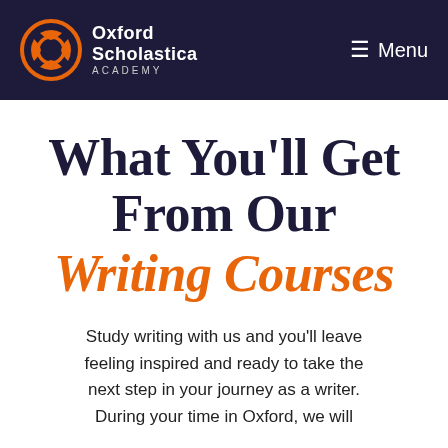[Figure (logo): Oxford Scholastica Academy logo with orange circular emblem and white text on dark navy header, with hamburger menu icon and Menu text on the right]
What You'll Get From Our Writing Courses
Study writing with us and you'll leave feeling inspired and ready to take the next step in your journey as a writer. During your time in Oxford, we will